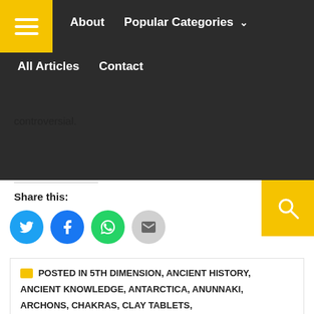About | Popular Categories | All Articles | Contact
controversial.
Share this:
[Figure (infographic): Social share buttons: Twitter (blue circle), Facebook (blue circle), WhatsApp (green circle), Email (gray circle)]
POSTED IN 5TH DIMENSION, ANCIENT HISTORY, ANCIENT KNOWLEDGE, ANTARCTICA, ANUNNAKI, ARCHONS, CHAKRAS, CLAY TABLETS,